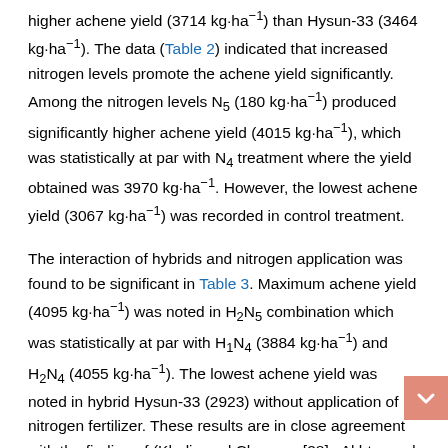higher achene yield (3714 kg·ha⁻¹) than Hysun-33 (3464 kg·ha⁻¹). The data (Table 2) indicated that increased nitrogen levels promote the achene yield significantly. Among the nitrogen levels N5 (180 kg·ha⁻¹) produced significantly higher achene yield (4015 kg·ha⁻¹), which was statistically at par with N4 treatment where the yield obtained was 3970 kg·ha⁻¹. However, the lowest achene yield (3067 kg·ha⁻¹) was recorded in control treatment.
The interaction of hybrids and nitrogen application was found to be significant in Table 3. Maximum achene yield (4095 kg·ha⁻¹) was noted in H2N5 combination which was statistically at par with H1N4 (3884 kg·ha⁻¹) and H2N4 (4055 kg·ha⁻¹). The lowest achene yield was noted in hybrid Hysun-33 (2923) without application of nitrogen fertilizer. These results are in close agreement with the finding of (Khaliq and Cheema. [28] ; Akhtar and Malik. [29] ; Hussain et al. [30] who concluded that interaction was significant between hybrids and nitrogen application.